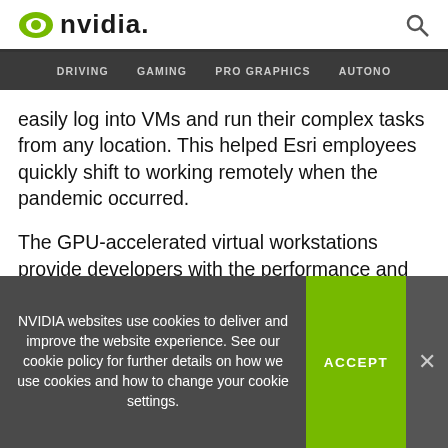NVIDIA. [search icon]
DRIVING  GAMING  PRO GRAPHICS  AUTONO
easily log into VMs and run their complex tasks from any location. This helped Esri employees quickly shift to working remotely when the pandemic occurred.
The GPU-accelerated virtual workstations provide developers with the performance and flexibility needed to continue running computationally intensive workflows, even when working outside of the office.
NVIDIA websites use cookies to deliver and improve the website experience. See our cookie policy for further details on how we use cookies and how to change your cookie settings.
ACCEPT
×